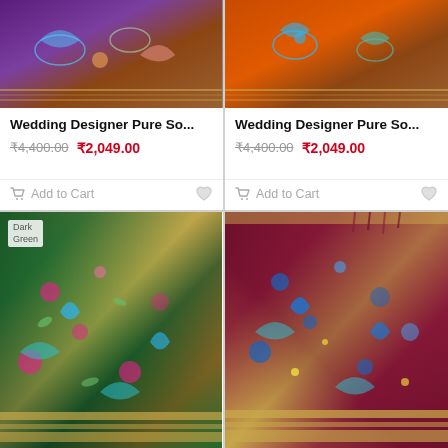[Figure (photo): Purple/violet wedding designer silk saree with golden border and colorful peacock/floral embroidery pattern]
Wedding Designer Pure So...
₹4,400.00  ₹2,049.00
Add to Cart
[Figure (photo): Orange wedding designer silk saree with golden border and colorful peacock/floral embroidery pattern]
Wedding Designer Pure So...
₹4,400.00  ₹2,049.00
Add to Cart
[Figure (photo): Dark green wedding designer silk saree with golden border and colorful floral embroidery, labeled 'Dark Green' in top-left corner]
[Figure (photo): Maroon/deep red wedding designer silk saree with golden border and blue floral/peacock embroidery pattern]